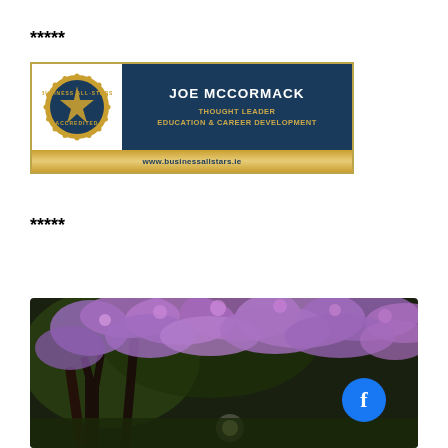*****
[Figure (logo): Business All-Stars Accredited badge/banner for Joe McCormack, Thought Leader, Education & Career Development. Website: www.businessallstars.ie]
*****
[Figure (photo): A blooming jacaranda or cherry blossom tree with purple/pink flowers against a dark canopy, with a blue Facebook button overlay in the bottom right corner.]